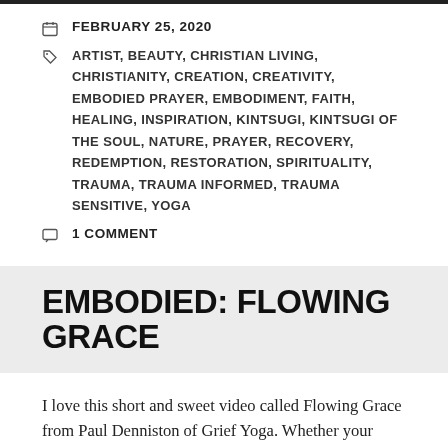FEBRUARY 25, 2020
ARTIST, BEAUTY, CHRISTIAN LIVING, CHRISTIANITY, CREATION, CREATIVITY, EMBODIED PRAYER, EMBODIMENT, FAITH, HEALING, INSPIRATION, KINTSUGI, KINTSUGI OF THE SOUL, NATURE, PRAYER, RECOVERY, REDEMPTION, RESTORATION, SPIRITUALITY, TRAUMA, TRAUMA INFORMED, TRAUMA SENSITIVE, YOGA
1 COMMENT
EMBODIED: FLOWING GRACE
I love this short and sweet video called Flowing Grace from Paul Denniston of Grief Yoga. Whether your holiday season is busy,